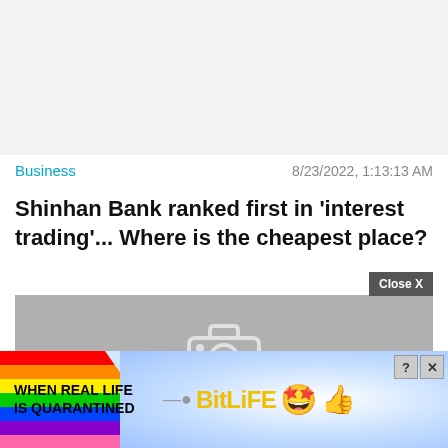[Figure (other): Gray placeholder banner at top of page (advertisement or image area)]
Business
8/23/2022, 1:13:13 AM
Shinhan Bank ranked first in 'interest trading'... Where is the cheapest place?
[Figure (photo): Gray placeholder image with camera icon and 'NO IMAGE' text, with Close X button overlay]
[Figure (other): BitLife advertisement banner at bottom with rainbow colors, text 'WHEN REAL LIFE IS QUARANTINED', BitLife logo, and emoji icons]